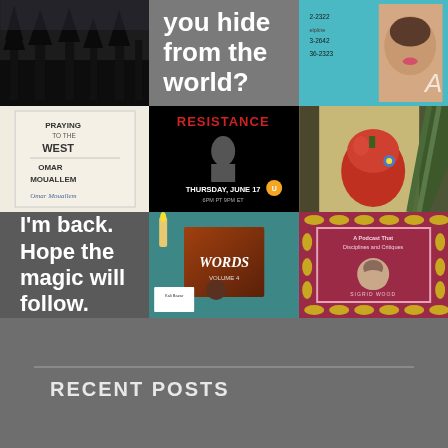[Figure (photo): Dark forest/trees silhouette photo]
[Figure (infographic): Text on gray background: 'you hide from the world?']
[Figure (infographic): Phone numbers on teal/light blue background with partial portrait photo]
[Figure (photo): Book cover: Praying to the West by Omar Mouallem with signature]
[Figure (infographic): Event poster: Resistance, Thursday June 17, 6PM PT, 9PM ET]
[Figure (photo): Red vase/apple with blue flowers on striped background]
[Figure (infographic): Text on gray: I'm back. Hope the magic will follow.]
[Figure (photo): Words book cover with candles and business cards on teal background]
[Figure (infographic): Podcast or book cover with gold lips pattern border on dark pink, woman's portrait]
RECENT POSTS